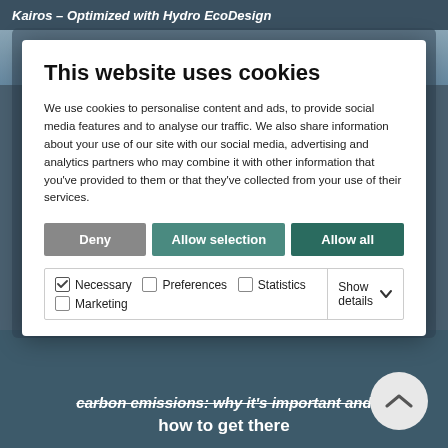Kairos – Optimized with Hydro EcoDesign
This website uses cookies
We use cookies to personalise content and ads, to provide social media features and to analyse our traffic. We also share information about your use of our site with our social media, advertising and analytics partners who may combine it with other information that you've provided to them or that they've collected from your use of their services.
Deny
Allow selection
Allow all
Necessary | Preferences | Statistics | Marketing | Show details
carbon emissions: why it's important and how to get there